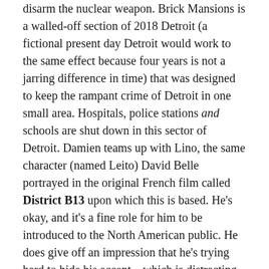disarm the nuclear weapon. Brick Mansions is a walled-off section of 2018 Detroit (a fictional present day Detroit would work to the same effect because four years is not a jarring difference in time) that was designed to keep the rampant crime of Detroit in one small area. Hospitals, police stations and schools are shut down in this sector of Detroit. Damien teams up with Lino, the same character (named Leito) David Belle portrayed in the original French film called District B13 upon which this is based. He's okay, and it's a fine role for him to be introduced to the North American public. He does give off an impression that he's trying hard to hide his accent – which is distracting. He does a better American accent than Gerard Butler, but I'm curious as to why everyone knows the character is French. He sounds pretty American to me. It's just a little funny.
Lino and Damien are the only characters you'll care about because they have clear motivations that, while generic, are mildly well-written. One character you won't care about is one